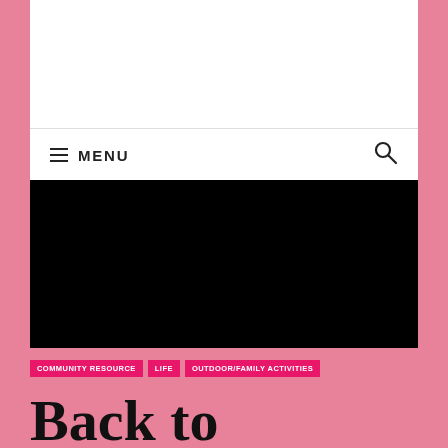[Figure (other): White advertisement banner area at the top of the page]
≡ MENU
[Figure (photo): Black hero image area]
COMMUNITY RESOURCE
LIFE
OUTDOOR/FAMILY ACTIVITIES
Back to